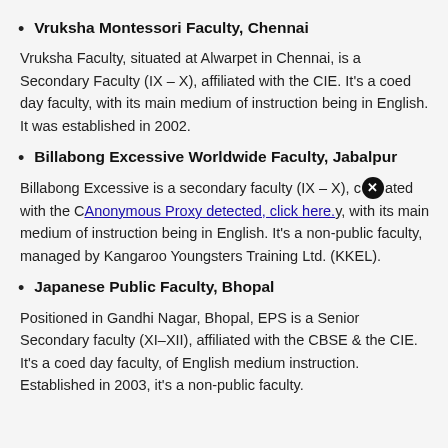Vruksha Montessori Faculty, Chennai
Vruksha Faculty, situated at Alwarpet in Chennai, is a Secondary Faculty (IX – X), affiliated with the CIE. It's a coed day faculty, with its main medium of instruction being in English. It was established in 2002.
Billabong Excessive Worldwide Faculty, Jabalpur
Billabong Excessive is a secondary faculty (IX – X), affiliated with the CBSE. It's a coed day faculty, with its main medium of instruction being in English. It's a non-public faculty, managed by Kangaroo Youngsters Training Ltd. (KKEL).
Japanese Public Faculty, Bhopal
Positioned in Gandhi Nagar, Bhopal, EPS is a Senior Secondary faculty (XI–XII), affiliated with the CBSE & the CIE. It's a coed day faculty, of English medium instruction. Established in 2003, it's a non-public faculty.